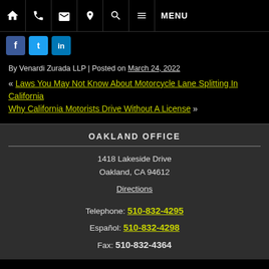Navigation bar with home, phone, email, location, search, menu icons and MENU label
Social media icons: Facebook, Twitter, LinkedIn
By Venardi Zurada LLP | Posted on March 24, 2022
« Laws You May Not Know About Motorcycle Lane Splitting In California
Why California Motorists Drive Without A License »
OAKLAND OFFICE
1418 Lakeside Drive
Oakland, CA 94612
Directions
Telephone: 510-832-4295
Español: 510-832-4298
Fax: 510-832-4364